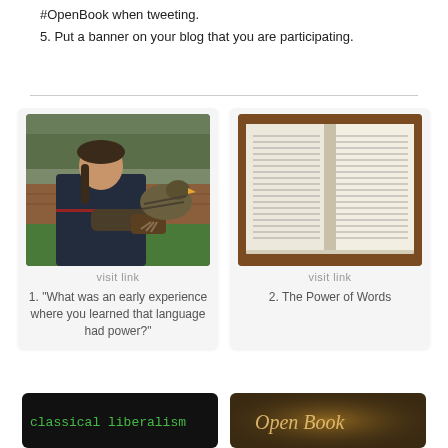#OpenBook when tweeting.
5. Put a banner on your blog that you are participating.
[Figure (photo): Man holding a large bird of prey (hawk/falcon) on a gloved arm outdoors]
visit link
1. "What was an early experience where you learned that language had power?"
[Figure (photo): Open book showing dense text pages, viewed from above]
visit link
2. The Power of Words
[Figure (screenshot): Dark background with text 'classical liberalism']
[Figure (photo): Decorative cursive text on dark background reading 'Open Book' or similar]